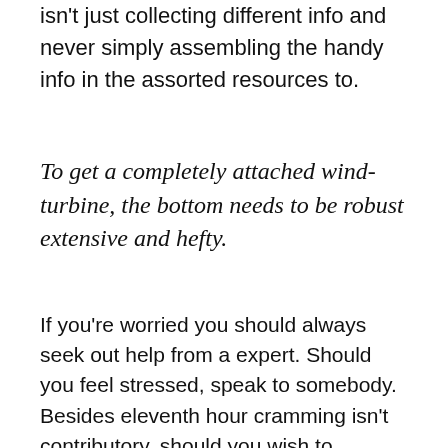isn't just collecting different info and never simply assembling the handy info in the assorted resources to.
To get a completely attached wind-turbine, the bottom needs to be robust extensive and hefty.
If you're worried you should always seek out help from a expert. Should you feel stressed, speak to somebody. Besides eleventh hour cramming isn't contributory, should you wish to comprehend special matters. It has to be a subject of public curiosity. Present the critical points which can be suggested by the important words. These words are ordinarily identified in article concerns. There are a lot of folks definitions in what dyslexia is. It